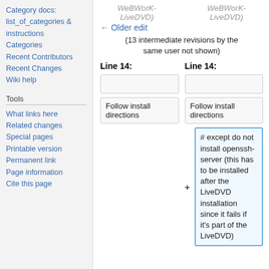Category docs: list_of_categories & instructions
Categories
Recent Contributors
Recent Changes
Wiki help
Tools
What links here
Related changes
Special pages
Printable version
Permanent link
Page information
Cite this page
WeBWorK-LiveDVD)
WeBWorK-LiveDVD)
← Older edit
(13 intermediate revisions by the same user not shown)
Line 14:
Line 14:
Follow install directions
Follow install directions
# except do not install openssh-server (this has to be installed after the LiveDVD installation since it fails if it's part of the LiveDVD)